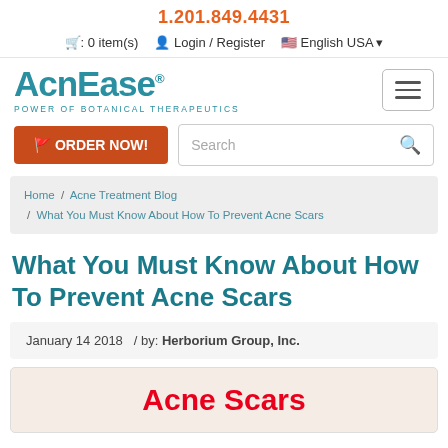1.201.849.4431
0 item(s)  Login / Register  English USA
[Figure (logo): AcnEase logo with tagline POWER OF BOTANICAL THERAPEUTICS]
ORDER NOW!
Search
Home / Acne Treatment Blog / What You Must Know About How To Prevent Acne Scars
What You Must Know About How To Prevent Acne Scars
January 14 2018  / by: Herborium Group, Inc.
[Figure (illustration): Acne Scars banner image with red bold text 'Acne Scars' on light background]